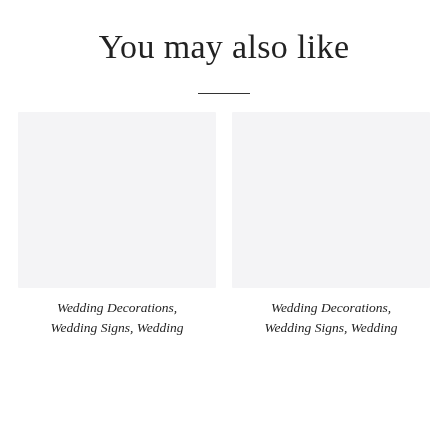You may also like
[Figure (illustration): Left product image placeholder — light gray rectangle]
Wedding Decorations, Wedding Signs, Wedding
[Figure (illustration): Right product image placeholder — light gray rectangle]
Wedding Decorations, Wedding Signs, Wedding